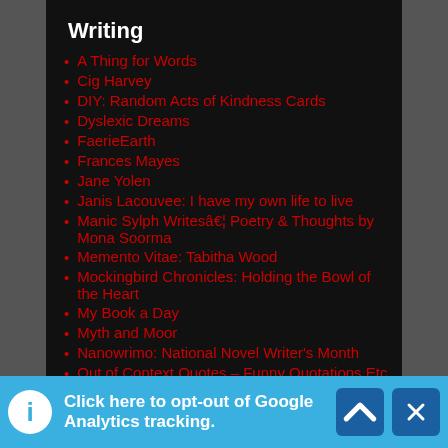Writing
A Thing for Words
Cig Harvey
DIY: Random Acts of Kindness Cards
Dyslexic Dreams
FaerieEarth
Frances Mayes
Jane Yolen
Janis Lacouvee: I have my own life to live
Manic Sylph Writesâ€¦ Poetry & Thoughts by Mona Soorma
Memento Vitae: Tabitha Wood
Mockingbird Chronicles: Holding the Bowl of the Heart
My Book a Day
Myth and Moor
Nanowrimo: National Novel Writer's Month
Out of Context Quotes – Funny Quotations Etc.
Click here to opt-out of Google Analytics tracking.